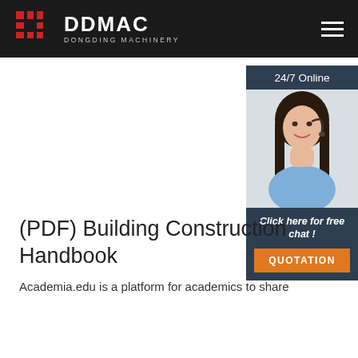DDMAC DONGDING MACHINERY
[Figure (screenshot): 24/7 online chat widget with photo of woman wearing headset, 'Click here for free chat!' text, and QUOTATION button]
(PDF) Building Construction Handbook
Academia.edu is a platform for academics to share